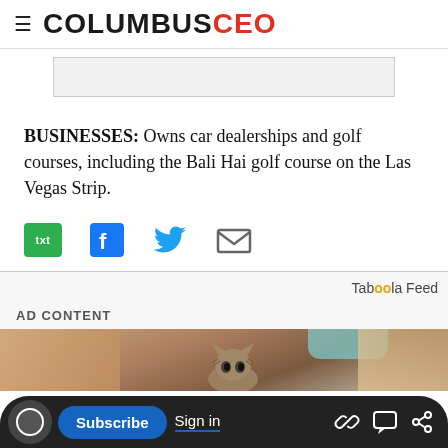COLUMBUS CEO
[Figure (other): Gray placeholder box]
BUSINESSES: Owns car dealerships and golf courses, including the Bali Hai golf course on the Las Vegas Strip.
[Figure (infographic): Social sharing icons: txt (SMS), Facebook, Twitter, Email]
Taboola Feed
AD CONTENT
[Figure (photo): Partial photo showing hands and a cat at the bottom]
Subscribe | Sign in | link | comment | share icons